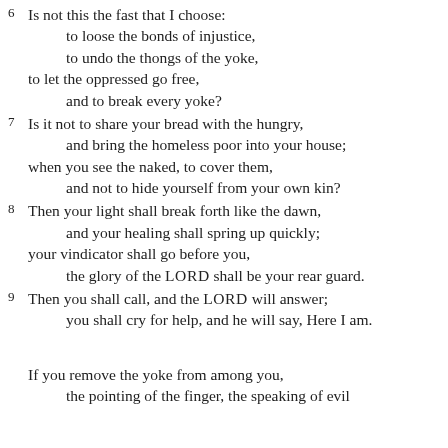6 Is not this the fast that I choose:
    to loose the bonds of injustice,
    to undo the thongs of the yoke,
to let the oppressed go free,
    and to break every yoke?
7 Is it not to share your bread with the hungry,
    and bring the homeless poor into your house;
when you see the naked, to cover them,
    and not to hide yourself from your own kin?
8 Then your light shall break forth like the dawn,
    and your healing shall spring up quickly;
your vindicator shall go before you,
    the glory of the LORD shall be your rear guard.
9 Then you shall call, and the LORD will answer;
    you shall cry for help, and he will say, Here I am.

If you remove the yoke from among you,
    the pointing of the finger, the speaking of evil